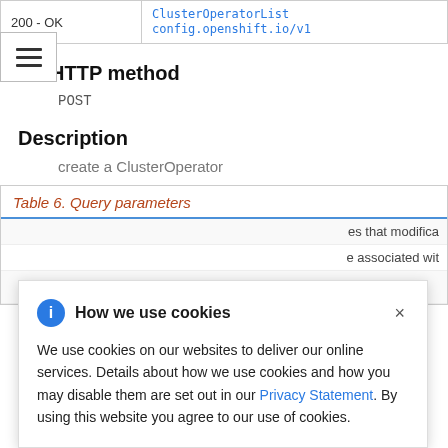| 200 - OK | ClusterOperatorList config.openshift.io/v1 |
| --- | --- |
HTTP method
POST
Description
create a ClusterOperator
Table 6. Query parameters
How we use cookies
We use cookies on our websites to deliver our online services. Details about how we use cookies and how you may disable them are set out in our Privacy Statement. By using this website you agree to our use of cookies.